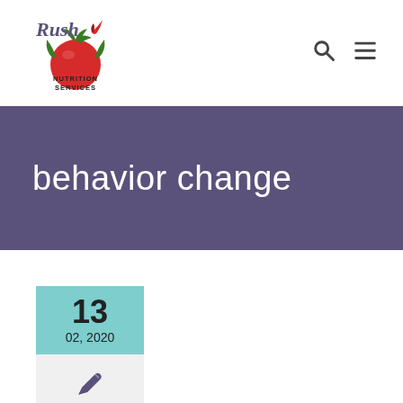Rush Nutrition Services
behavior change
13
02, 2020